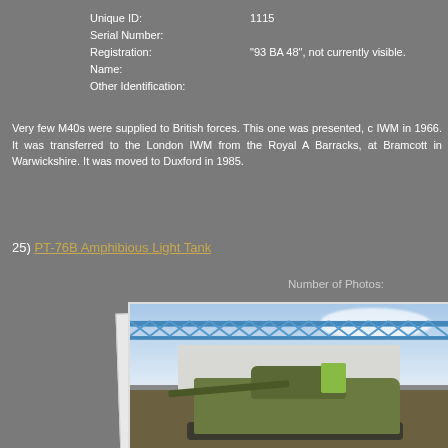Unique ID: 1115
Serial Number:
Registration: "93 BA 48", not currently visible.
Name:
Other Identification:
Very few M40s were supplied to British forces. This one was presented, c IWM in 1966. It was transferred to the London IWM from the Royal A Barracks, at Bramcott in Warwickshire. It was moved to Duxford in 1985.
25) PT-76B Amphibious Light Tank
Number of Photos:
[Figure (photo): A PT-76B Amphibious Light Tank photographed outdoors near a large industrial building with blue steel truss roof structure visible above. A person in a high-visibility vest is visible on or near the tank. The tank is olive/khaki green with a long barrel gun.]